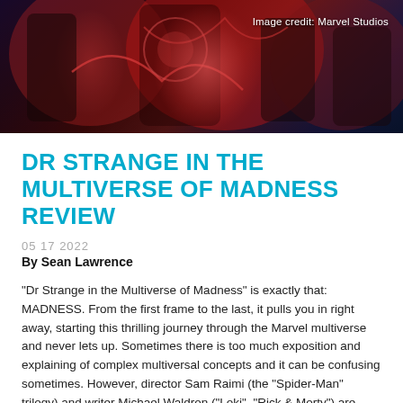[Figure (photo): Movie promotional image for Dr Strange in the Multiverse of Madness featuring characters from the film with red and dark dramatic lighting. Image credit: Marvel Studios.]
Image credit: Marvel Studios
DR STRANGE IN THE MULTIVERSE OF MADNESS REVIEW
05 17 2022
By Sean Lawrence
“Dr Strange in the Multiverse of Madness” is exactly that: MADNESS. From the first frame to the last, it pulls you in right away, starting this thrilling journey through the Marvel multiverse and never lets up. Sometimes there is too much exposition and explaining of complex multiversal concepts and it can be confusing sometimes. However, director Sam Raimi (the “Spider-Man” trilogy) and writer Michael Waldron (“Loki”, “Rick & Morty”) are mostly laser-focused on developing the main storylines about Dr Strange, Wanda and America Chavez fully from start to finish. The story has deep, meaningful themes of loss, grief, gratitude and acceptance